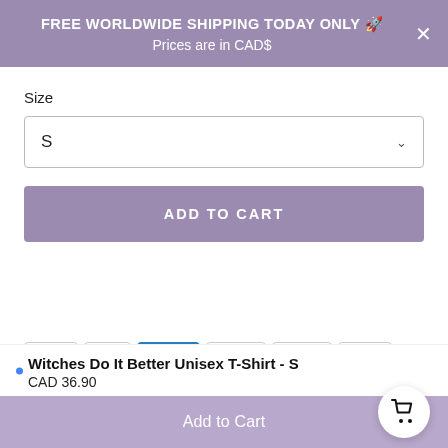FREE WORLDWIDE SHIPPING TODAY ONLY 🚀
Prices are in CAD$
Size
S
ADD TO CART
[Figure (other): Payment method icons: VISA, Mastercard, American Express, PayPal, Apple Pay, G Pay]
Witches Do It Better Unisex T-Shirt - S
CAD 36.90
Add to Cart